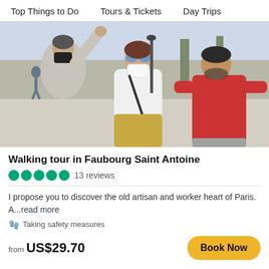Top Things to Do    Tours & Tickets    Day Trips
[Figure (photo): Three people on a sunny city plaza: a woman in grey top with black mask pointing upward, a woman in white top with white mask and sunglasses, and a man in red t-shirt. Tour guide scene.]
Walking tour in Faubourg Saint Antoine
13 reviews
I propose you to discover the old artisan and worker heart of Paris. A...read more
🧤 Taking safety measures
from US$29.70
Book Now